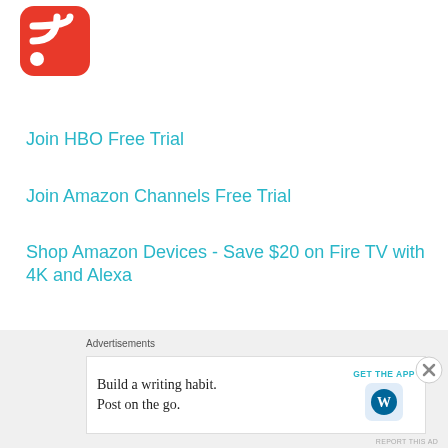[Figure (logo): Red RSS feed icon with white wifi signal symbol on rounded square background]
Join HBO Free Trial
Join Amazon Channels Free Trial
Shop Amazon Devices - Save $20 on Fire TV with 4K and Alexa
Amazon Channels - CBS All Access
Advertisements
Build a writing habit. Post on the go.
GET THE APP